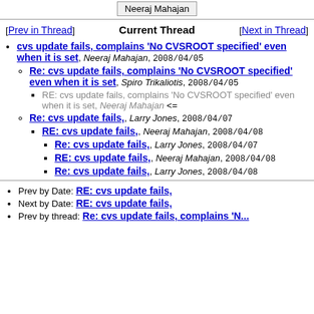Neeraj Mahajan
[Prev in Thread]   Current Thread   [Next in Thread]
cvs update fails, complains 'No CVSROOT specified' even when it is set, Neeraj Mahajan, 2008/04/05
Re: cvs update fails, complains 'No CVSROOT specified' even when it is set, Spiro Trikaliotis, 2008/04/05
RE: cvs update fails, complains 'No CVSROOT specified' even when it is set, Neeraj Mahajan <=
Re: cvs update fails,, Larry Jones, 2008/04/07
RE: cvs update fails,, Neeraj Mahajan, 2008/04/08
Re: cvs update fails,, Larry Jones, 2008/04/07
RE: cvs update fails,, Neeraj Mahajan, 2008/04/08
Re: cvs update fails,, Larry Jones, 2008/04/08
Prev by Date: RE: cvs update fails,
Next by Date: RE: cvs update fails,
Prev by thread: Re: cvs update fails, complains 'No...